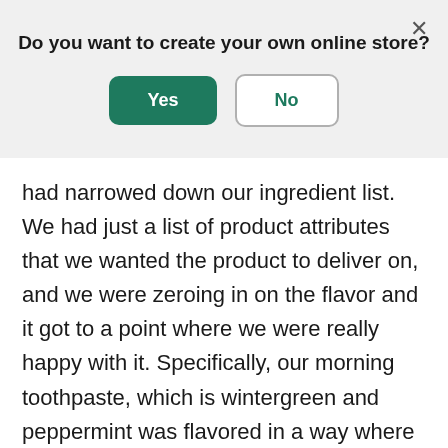Do you want to create your own online store?
Yes
No
had narrowed down our ingredient list. We had just a list of product attributes that we wanted the product to deliver on, and we were zeroing in on the flavor and it got to a point where we were really happy with it. Specifically, our morning toothpaste, which is wintergreen and peppermint was flavored in a way where you really could taste both of those mints and it wasn't just like this mix of a hodgepodge of mint like you're used to. So we love that. Our evening toothpaste, which is peppermint